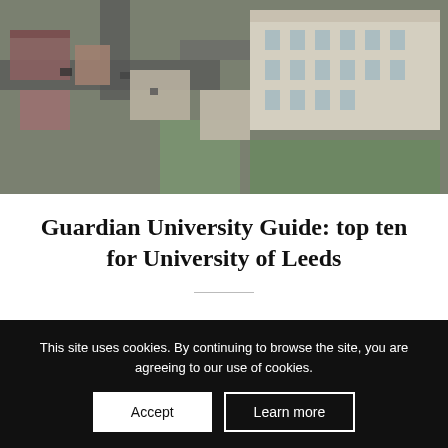[Figure (photo): Aerial view of University of Leeds campus buildings and surrounding streets]
Guardian University Guide: top ten for University of Leeds
June 1, 2018
This site uses cookies. By continuing to browse the site, you are agreeing to our use of cookies.